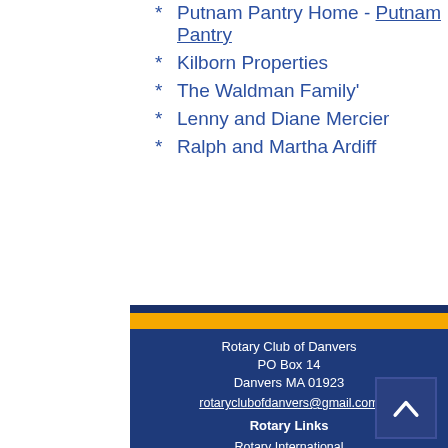* Putnam Pantry Home - Putnam Pantry
* Kilborn Properties
* The Waldman Family'
* Lenny and Diane Mercier
* Ralph and Martha Ardiff
Rotary Club of Danvers
PO Box 14
Danvers MA 01923
rotaryclubofdanvers@gmail.com
Rotary Links
Rotary International
RI President Home
Rotary Global Rewards
Joining Rotary
Rotary History